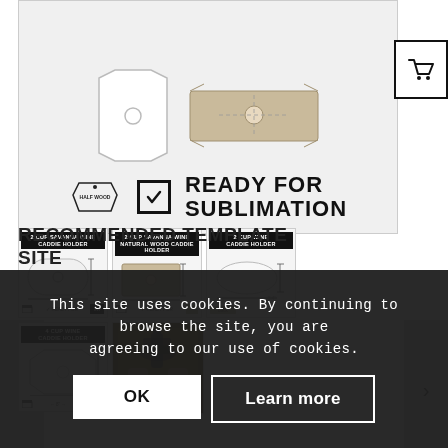[Figure (photo): Product hero image showing wine caddie holder shapes (white die-cut and natural wood), with a Texas-shaped logo and 'READY FOR SUBLIMATION' text with checkbox]
[Figure (screenshot): Cart icon button in top right corner]
[Figure (photo): Thumbnail: 2 Cup Savanna Wine Caddie Holder - white diagram]
[Figure (photo): Thumbnail: 2 Cup Savanna Wine Natural Wood Caddie Holder - tan wood diagram]
[Figure (photo): Thumbnail: 2 Cup Wine Caddie Holder - back diagram]
[Figure (photo): Thumbnail: 4 Cup Wine Caddie Holder - diagram]
[Figure (photo): Thumbnail: Photo of finished product - wine caddie with bottles and mason jars on wood table]
RECOMMENDED TEMPLATE SITE
This site uses cookies. By continuing to browse the site, you are agreeing to our use of cookies.
OK
Learn more